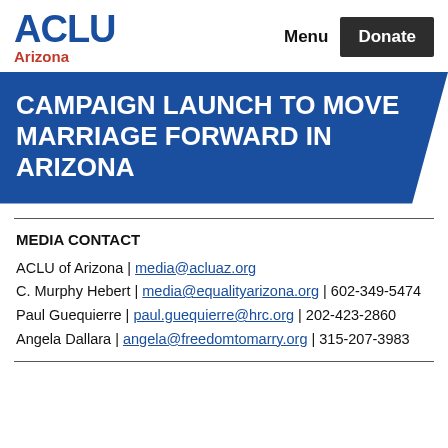ACLU Arizona | Menu | Donate
CAMPAIGN LAUNCH TO MOVE MARRIAGE FORWARD IN ARIZONA
MEDIA CONTACT
ACLU of Arizona | media@acluaz.org
C. Murphy Hebert | media@equalityarizona.org | 602-349-5474
Paul Guequierre | paul.guequierre@hrc.org | 202-423-2860
Angela Dallara | angela@freedomtomarry.org | 315-207-3983